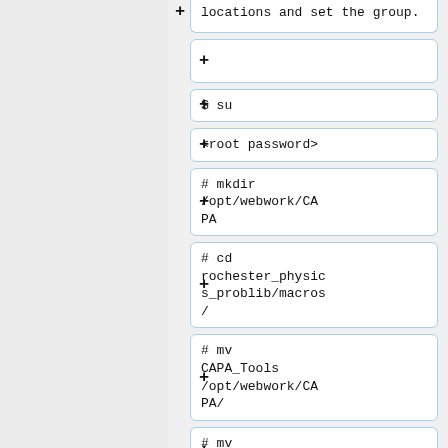locations and set the group.
$ su
<root password>
# mkdir /opt/webwork/CAPA
# cd rochester_physics_problib/macros/
# mv CAPA_Tools /opt/webwork/CAPA/
# mv CAPA_MCTools